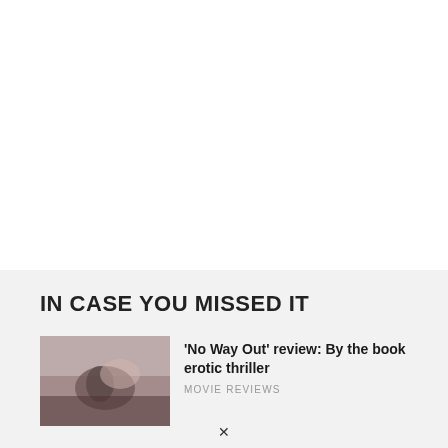IN CASE YOU MISSED IT
[Figure (photo): Thumbnail image for movie review article – dark, moody scene with a person]
'No Way Out' review: By the book erotic thriller
MOVIE REVIEWS